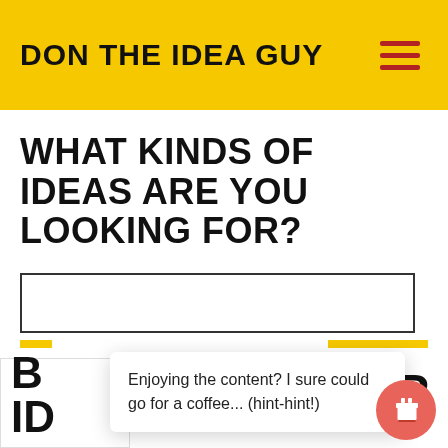DON THE IDEA GUY
WHAT KINDS OF IDEAS ARE YOU LOOKING FOR?
Enjoying the content? I sure could go for a coffee... (hint-hint!)